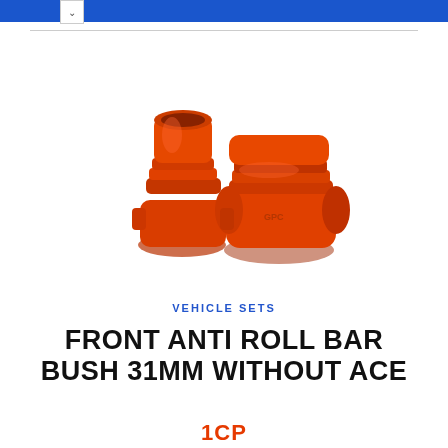[Figure (photo): Two orange polyurethane anti roll bar bush components photographed on a white background. The bushes are cylindrical with ribbed/grooved middle sections and flat bases, shown side by side at a slight angle.]
VEHICLE SETS
FRONT ANTI ROLL BAR BUSH 31MM WITHOUT ACE
1CP